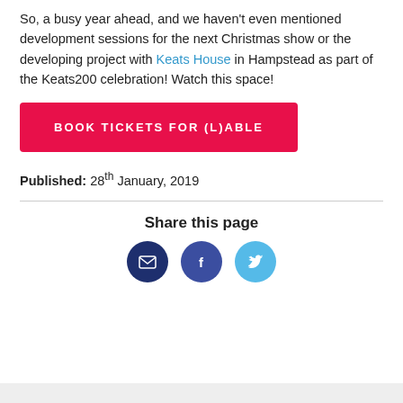So, a busy year ahead, and we haven't even mentioned development sessions for the next Christmas show or the developing project with Keats House in Hampstead as part of the Keats200 celebration! Watch this space!
BOOK TICKETS FOR (L)ABLE
Published: 28th January, 2019
Share this page
[Figure (infographic): Three social share icon circles: email (dark navy), Facebook (dark blue), Twitter (light blue)]